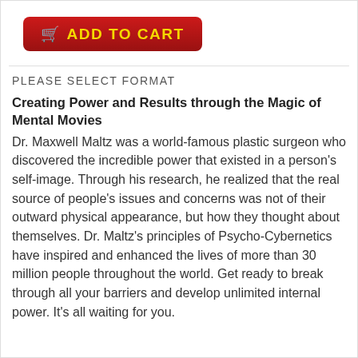[Figure (other): Red 'Add to Cart' button with yellow cart icon and text]
PLEASE SELECT FORMAT
Creating Power and Results through the Magic of Mental Movies
Dr. Maxwell Maltz was a world-famous plastic surgeon who discovered the incredible power that existed in a person's self-image. Through his research, he realized that the real source of people's issues and concerns was not of their outward physical appearance, but how they thought about themselves. Dr. Maltz's principles of Psycho-Cybernetics have inspired and enhanced the lives of more than 30 million people throughout the world. Get ready to break through all your barriers and develop unlimited internal power. It's all waiting for you.